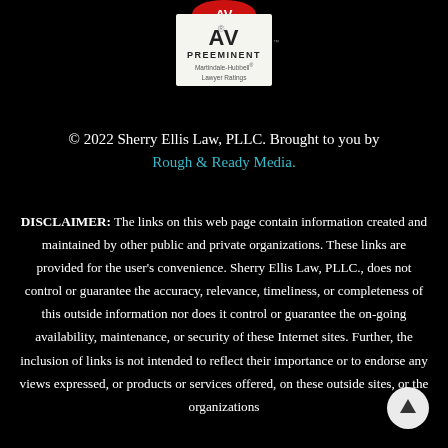[Figure (logo): AV Preeminent Martindale-Hubbell Lawyer Ratings badge with red circular logo at top]
© 2022 Sherry Ellis Law, PLLC. Brought to you by Rough & Ready Media.
DISCLAIMER: The links on this web page contain information created and maintained by other public and private organizations. These links are provided for the user's convenience. Sherry Ellis Law, PLLC., does not control or guarantee the accuracy, relevance, timeliness, or completeness of this outside information nor does it control or guarantee the on-going availability, maintenance, or security of these Internet sites. Further, the inclusion of links is not intended to reflect their importance or to endorse any views expressed, or products or services offered, on these outside sites, or the organizations